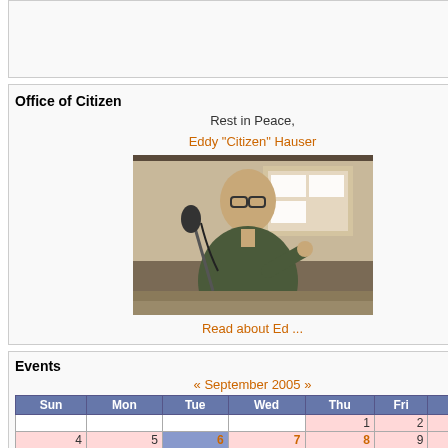[Figure (other): Partial top stub box with a small red icon and 'more' link]
Office of Citizen
Rest in Peace,
Eddy "Citizen" Hauser
[Figure (photo): Black and white photo of Eddy Hauser speaking at a microphone]
Read about Ed ...
Events
« September 2005 »
| Sun | Mon | Tue | Wed | Thu | Fri | Sat |
| --- | --- | --- | --- | --- | --- | --- |
|  |  |  |  | 1 | 2 | 3 |
| 4 | 5 | 6 | 7 | 8 | 9 | 10 |
| 11 | 12 | 13 | 14 | 15 | 16 | 17 |
| 18 | 19 | 20 | 21 | 22 | 23 | 24 |
| 25 | 26 | 27 | 28 | 29 | 30 |  |
Navigation
▼ Create Content
○ more...
○ Recent posts
○ Search
|  | Economy Mentality / reads | reads |
| --- | --- | --- |
|  | Start: 10:30 am
3887 reads |  |